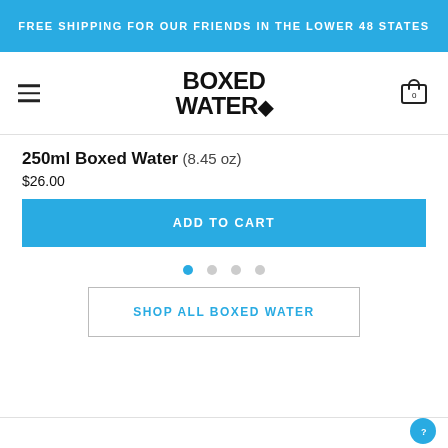FREE SHIPPING FOR OUR FRIENDS IN THE LOWER 48 STATES
[Figure (logo): Boxed Water logo with hamburger menu icon on left and cart icon on right]
250ml Boxed Water (8.45 oz)
$26.00
ADD TO CART
SHOP ALL BOXED WATER